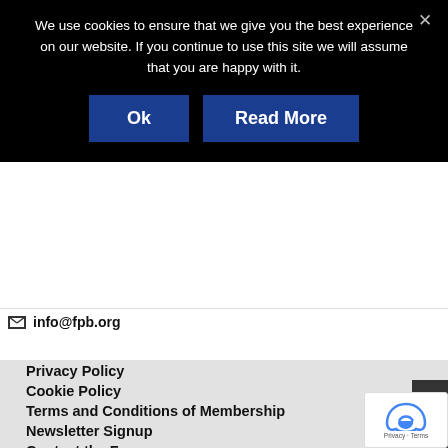We use cookies to ensure that we give you the best experience on our website. If you continue to use this site we will assume that you are happy with it.
[Figure (screenshot): Cookie consent banner with Ok and Read More buttons on black background]
info@fpb.org
Privacy Policy
Cookie Policy
Terms and Conditions of Membership
Newsletter Signup
Contact the Forum
FAQs
[Figure (illustration): Social media icons: Twitter, Facebook, YouTube, LinkedIn, Instagram]
© 2022 Forum of Private Business Ltd. Registered 01329000.